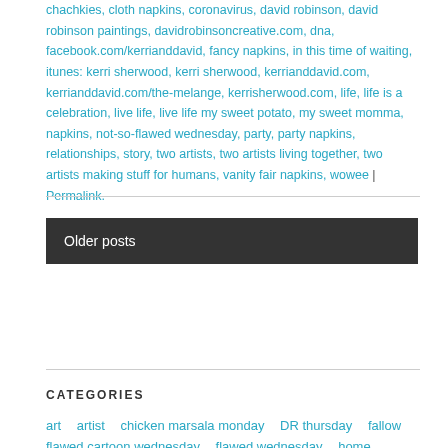chachkies, cloth napkins, coronavirus, david robinson, david robinson paintings, davidrobinsoncreative.com, dna, facebook.com/kerrianddavid, fancy napkins, in this time of waiting, itunes: kerri sherwood, kerri sherwood, kerrianddavid.com, kerrianddavid.com/the-melange, kerrisherwood.com, life, life is a celebration, live life, live life my sweet potato, my sweet momma, napkins, not-so-flawed wednesday, party, party napkins, relationships, story, two artists, two artists living together, two artists making stuff for humans, vanity fair napkins, wowee | Permalink.
Older posts
CATEGORIES
art  artist  chicken marsala monday  DR thursday  fallow
flawed cartoon wednesday  flawed wednesday  home